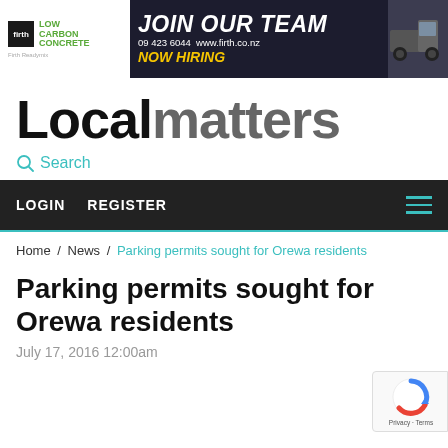[Figure (illustration): Advertisement banner for Firth Readymix: Low Carbon Concrete with logo on left white section, JOIN OUR TEAM 09 423 6044 www.firth.co.nz NOW HIRING in yellow on dark background with truck image on right]
Localmatters
Search
LOGIN   REGISTER
Home / News / Parking permits sought for Orewa residents
Parking permits sought for Orewa residents
July 17, 2016 12:00am